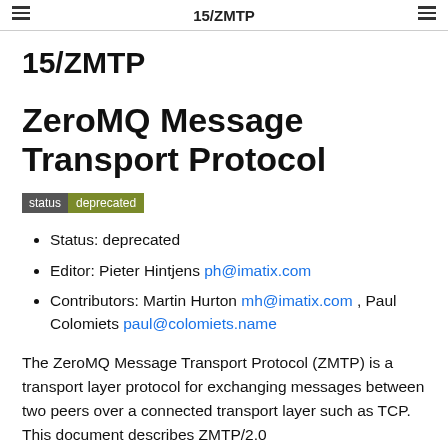15/ZMTP
15/ZMTP
ZeroMQ Message Transport Protocol
status deprecated
Status: deprecated
Editor: Pieter Hintjens ph@imatix.com
Contributors: Martin Hurton mh@imatix.com , Paul Colomiets paul@colomiets.name
The ZeroMQ Message Transport Protocol (ZMTP) is a transport layer protocol for exchanging messages between two peers over a connected transport layer such as TCP. This document describes ZMTP/2.0